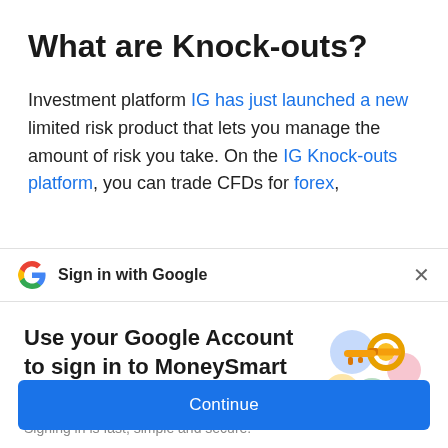What are Knock-outs?
Investment platform IG has just launched a new limited risk product that lets you manage the amount of risk you take. On the IG Knock-outs platform, you can trade CFDs for forex,
Sign in with Google
Use your Google Account to sign in to MoneySmart
No more passwords to remember.
Signing in is fast, simple and secure.
[Figure (illustration): Google account sign-in illustration showing a golden key with colorful circular icons]
Continue